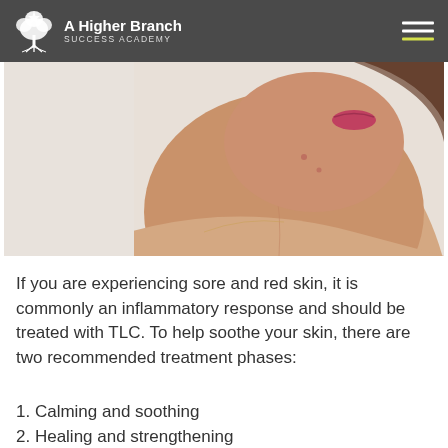A Higher Branch SUCCESS ACADEMY
[Figure (photo): Side profile of a young woman's face and neck showing clear skin with slight redness/acne near jaw area, against a light background]
If you are experiencing sore and red skin, it is commonly an inflammatory response and should be treated with TLC. To help soothe your skin, there are two recommended treatment phases:
1. Calming and soothing
2. Healing and strengthening